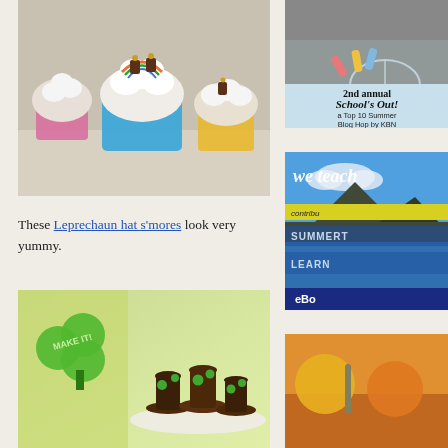[Figure (photo): Photo of colorful cupcakes decorated as Easter baskets with white frosting clouds and chocolate candy pieces on top, in pink, blue, and yellow cupcake liners]
These Leprechaun hat s’mores look very yummy.
[Figure (photo): Photo of leprechaun hat s'mores made from chocolate cookies and green shamrock decorations, with a green shamrock 'Make It!' graphic on the left]
[Figure (photo): School's Out! 2nd annual Top 10 Summer Blog Hop by KBN - sidebar advertisement with chalk pieces on pavement]
[Figure (photo): We teach - contribute SUMMERTIME LEARN eBook sidebar advertisement with blue sky and mountain background]
[Figure (photo): Partial sidebar image, colorful background]